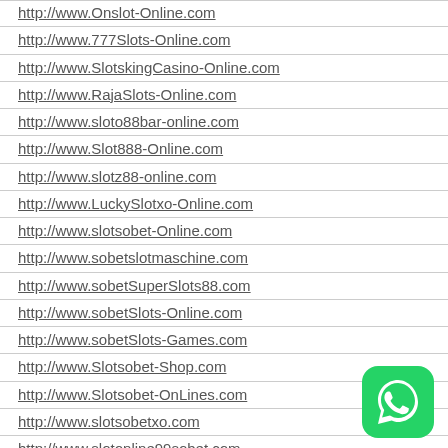http://www.Onslot-Online.com
http://www.777Slots-Online.com
http://www.SlotskingCasino-Online.com
http://www.RajaSlots-Online.com
http://www.sloto88bar-online.com
http://www.Slot888-Online.com
http://www.slotz88-online.com
http://www.LuckySlotxo-Online.com
http://www.slotsobet-Online.com
http://www.sobetslotmaschine.com
http://www.sobetSuperSlots88.com
http://www.sobetSlots-Online.com
http://www.sobetSlots-Games.com
http://www.Slotsobet-Shop.com
http://www.Slotsobet-OnLines.com
http://www.slotsobetxo.com
http://www.slotonline99sobet.com
[Figure (logo): WhatsApp green circular logo icon]